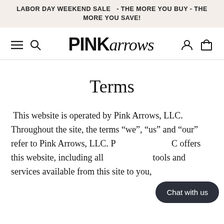LABOR DAY WEEKEND SALE   - THE MORE YOU BUY - THE MORE YOU SAVE!
[Figure (logo): Pink Arrows logo with hamburger menu, search icon, user icon, and cart icon navigation elements]
Terms
This website is operated by Pink Arrows, LLC. Throughout the site, the terms “we”, “us” and “our” refer to Pink Arrows, LLC. [Pink Arrows, LL]C offers this website, including all [information,] tools and services available from this site to you,